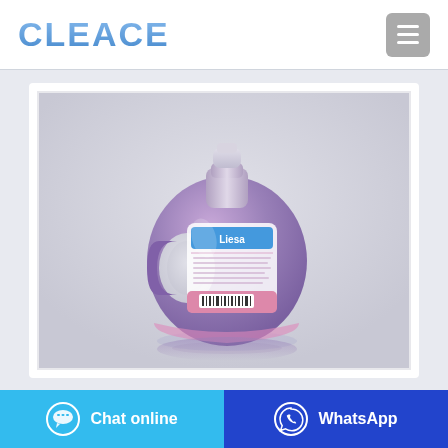CLEACE
[Figure (photo): Purple laundry detergent bottle with label, shown from the back, with a handle and decorative pink trim at the bottom. Product photographed against a neutral background.]
Chat online
WhatsApp